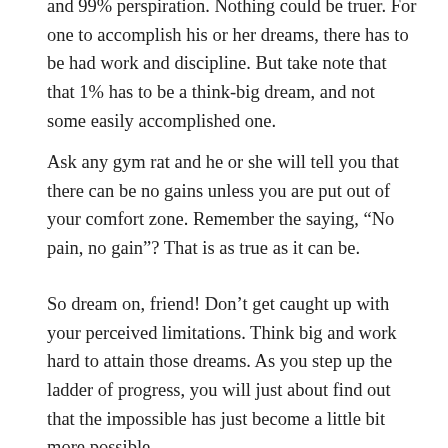and 99% perspiration. Nothing could be truer. For one to accomplish his or her dreams, there has to be had work and discipline. But take note that that 1% has to be a think-big dream, and not some easily accomplished one.
Ask any gym rat and he or she will tell you that there can be no gains unless you are put out of your comfort zone. Remember the saying, “No pain, no gain”? That is as true as it can be.
So dream on, friend! Don’t get caught up with your perceived limitations. Think big and work hard to attain those dreams. As you step up the ladder of progress, you will just about find out that the impossible has just become a little bit more possible.